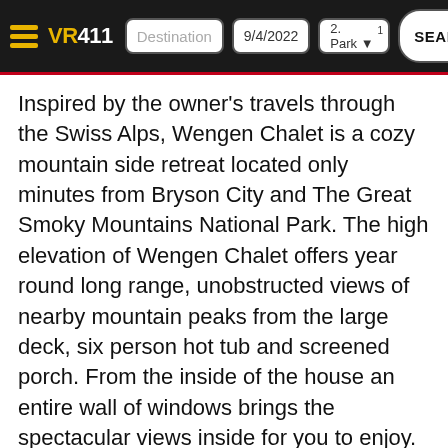VR411 | Destination | 9/4/2022 | 2 Park 1 | SEARCH
Inspired by the owner's travels through the Swiss Alps, Wengen Chalet is a cozy mountain side retreat located only minutes from Bryson City and The Great Smoky Mountains National Park. The high elevation of Wengen Chalet offers year round long range, unobstructed views of nearby mountain peaks from the large deck, six person hot tub and screened porch. From the inside of the house an entire wall of windows brings the spectacular views inside for you to enjoy. Leather couches with built in recliners greet you in the living room and they beckon you to join family and friends in front of the fireplace and the large HD satellite